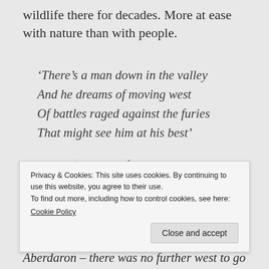wildlife there for decades. More at ease with nature than with people.
‘There’s a man down in the valley
And he dreams of moving west
Of battles raged against the furies
That might see him at his best’
Thomas’ ‘dreams of moving west’ were physically fulfilled, but the reality never quite measured up. There was always the
Privacy & Cookies: This site uses cookies. By continuing to use this website, you agree to their use.
To find out more, including how to control cookies, see here:
Cookie Policy
Aberdaron – there was no further west to go